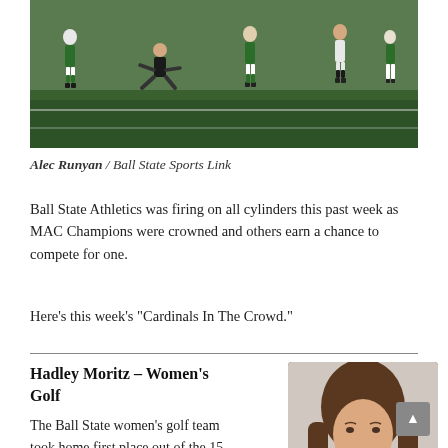[Figure (photo): Sports action photo showing soccer players competing on a green field, players wearing green and white uniforms]
Alec Runyan / Ball State Sports Link
Ball State Athletics was firing on all cylinders this past week as MAC Champions were crowned and others earn a chance to compete for one.
Here’s this week’s “Cardinals In The Crowd.”
Hadley Moritz – Women’s Golf
[Figure (photo): Headshot of Hadley Moritz, a young woman with long brown hair, smiling]
The Ball State women’s golf team took home first place out of the 15 team field at Bowling Green’s Dolores Black Falcon Invitational.
Led by junior Hadley Moritz